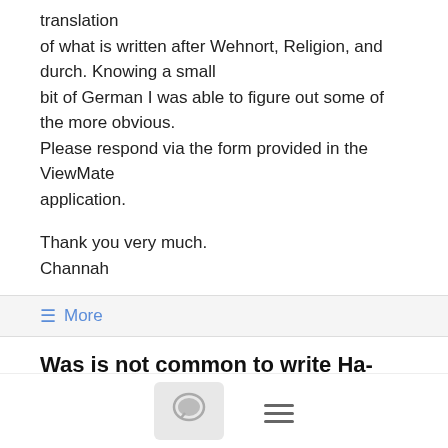translation of what is written after Wehnort, Religion, and durch. Knowing a small bit of German I was able to figure out some of the more obvious. Please respond via the form provided in the ViewMate application.
Thank you very much.
Channah
≡ More
Was is not common to write Ha-Cohen in the original marriage book of Vienna Jewish Community? #austria-czech
izharatzmon@...    4/16/18
We found the marriage entry of my grandfather David Salata in